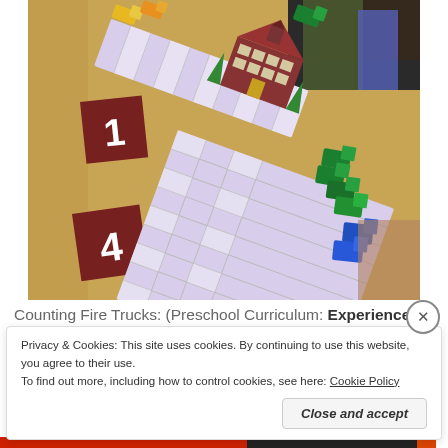[Figure (photo): Photo of a classroom table with a counting game board (number track), toy trucks in green, blue, and yellow colors, and dark red square cards with numbers 1 and 4 on them. A second game board strip with a schoolhouse illustration is visible.]
Counting Fire Trucks: (Preschool Curriculum: Experience
Privacy & Cookies: This site uses cookies. By continuing to use this website, you agree to their use.
To find out more, including how to control cookies, see here: Cookie Policy
Close and accept